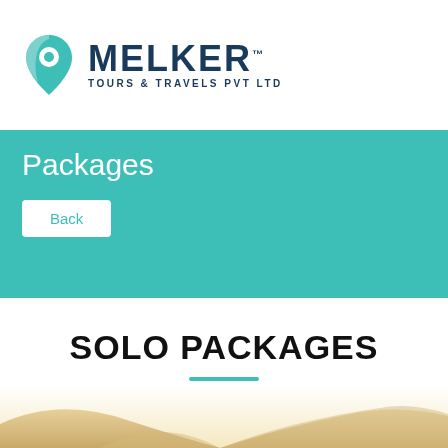[Figure (logo): Melker Tours & Travels Pvt Ltd logo with teal pin/drop icon and dark blue text]
Packages
Back
SOLO PACKAGES
[Figure (photo): Desert sand dunes landscape image at the bottom of the page]